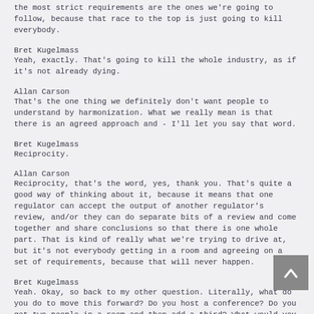the most strict requirements are the ones we're going to follow, because that race to the top is just going to kill everybody.
Bret Kugelmass
Yeah, exactly. That's going to kill the whole industry, as if it's not already dying.
Allan Carson
That's the one thing we definitely don't want people to understand by harmonization. What we really mean is that there is an agreed approach and - I'll let you say that word.
Bret Kugelmass
Reciprocity.
Allan Carson
Reciprocity, that's the word, yes, thank you. That's quite a good way of thinking about it, because it means that one regulator can accept the output of another regulator's review, and/or they can do separate bits of a review and come together and share conclusions so that there is one whole part. That is kind of really what we're trying to drive at, but it's not everybody getting in a room and agreeing on a set of requirements, because that will never happen.
Bret Kugelmass
Yeah. Okay, so back to my other question. Literally, what do you do to move this forward? Do you host a conference? Do you get two people in a room and then add a third? What would you do to make us move forward?